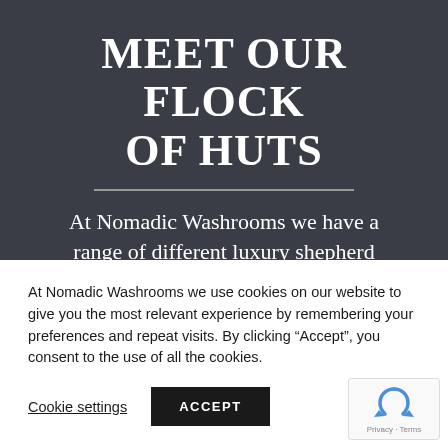MEET OUR FLOCK OF HUTS
At Nomadic Washrooms we have a range of different luxury shepherd style huts for every type of event or
At Nomadic Washrooms we use cookies on our website to give you the most relevant experience by remembering your preferences and repeat visits. By clicking “Accept”, you consent to the use of all the cookies.
Cookie settings
ACCEPT